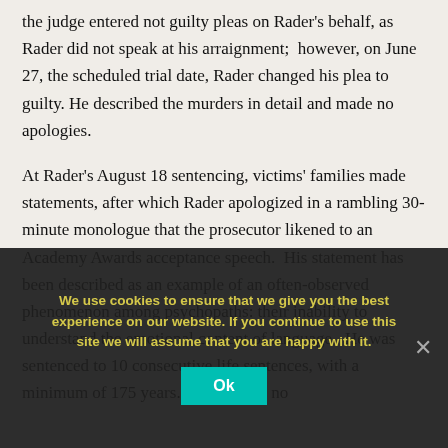the judge entered not guilty pleas on Rader's behalf, as Rader did not speak at his arraignment;  however, on June 27, the scheduled trial date, Rader changed his plea to guilty. He described the murders in detail and made no apologies.
At Rader's August 18 sentencing, victims' families made statements, after which Rader apologized in a rambling 30-minute monologue that the prosecutor likened to an Academy Awards acceptance speech.  His statement has been described as an example of an often-observed phenomenon among psychopaths: their inability to understand the emotional content of language.  He was sentenced to 10 consecutive life sentences, with a minimum of 175 years.  Kansas had no...
We use cookies to ensure that we give you the best experience on our website. If you continue to use this site we will assume that you are happy with it.